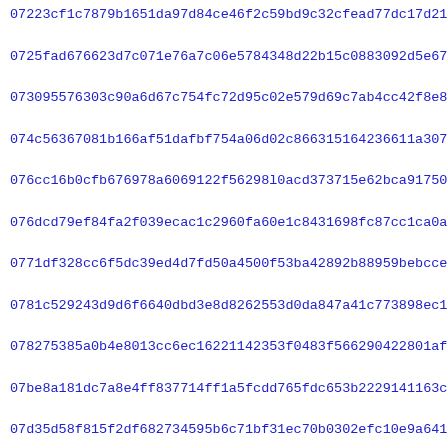07223cf1c7879b1651da97d84ce46f2c59bd9c32cfead77dc17d21aa936cf
0725fad676623d7c071e76a7c06e5784348d22b15c0883092d5e670eed6a2
073095576303c90a6d67c754fc72d95c02e579d69c7ab4cc42f8e8f2d13e1
074c56367081b166af51dafbf754a06d02c866315164236611a307f51c2f0
076cc16b0cfb676978a6069122f56298l0acd373715e62bca9175012796a3
076dcd79ef84fa2f039ecac1c2960fa60e1c8431698fc87cc1ca0a5164198
0771df328cc6f5dc39ed4d7fd50a4500f53ba42892b88959bebcced92e6da
0781c529243d9d6f6640dbd3e8d8262553d0da847a41c773898ec19248377
078275385a0b4e8013cc6ec16221142353f0483f566290422801afb4327f2b
07be8a181dc7a8e4ff837714ff1a5fcdd765fdc653b2229141163c4e6a126
07d35d58f815f2df682734595b6c71bf31ec70b0302efc10e9a6415329351